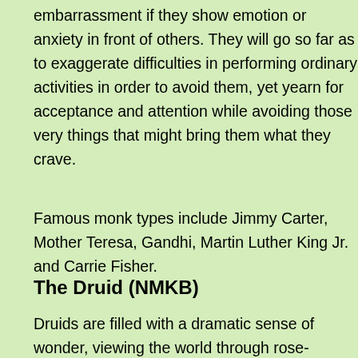embarrassment if they show emotion or anxiety in front of others. They will go so far as to exaggerate difficulties in performing ordinary activities in order to avoid them, yet yearn for acceptance and attention while avoiding those very things that might bring them what they crave.
Famous monk types include Jimmy Carter, Mother Teresa, Gandhi, Martin Luther King Jr. and Carrie Fisher.
The Druid (NMKB)
Druids are filled with a dramatic sense of wonder, viewing the world through rose-colored glasses as they